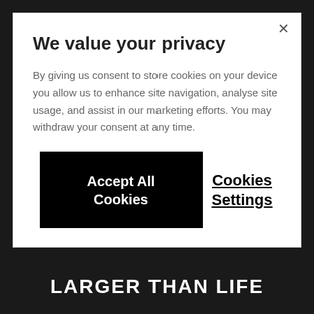We value your privacy
By giving us consent to store cookies on your device you allow us to enhance site navigation, analyse site usage, and assist in our marketing efforts. You may withdraw your consent at any time.
Accept All Cookies
Cookies Settings
LARGER THAN LIFE